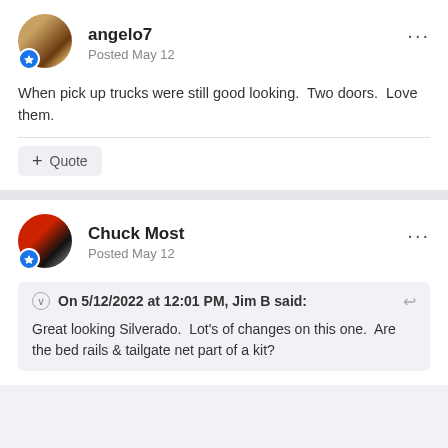angelo7
Posted May 12
When pick up trucks were still good looking.  Two doors.  Love them.
+ Quote
Chuck Most
Posted May 12
On 5/12/2022 at 12:01 PM, Jim B said:
Great looking Silverado.  Lot's of changes on this one.  Are the bed rails & tailgate net part of a kit?